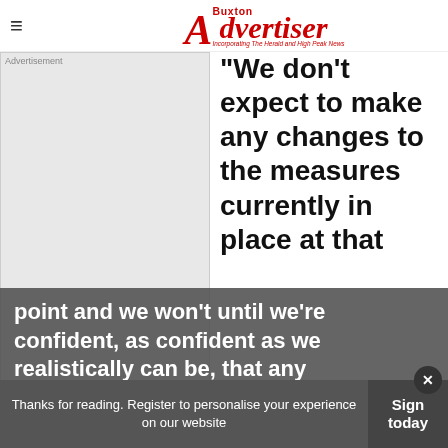Buxton Advertiser — Incorporating The Herald and High Peak News
[Figure (other): Advertisement placeholder block (grey rectangle)]
"We don't expect to make any changes to the measures currently in place at that point and we won't until we're confident, as confident as we realistically can be, that any
Thanks for reading. Register to personalise your experience on our website
Sign in today